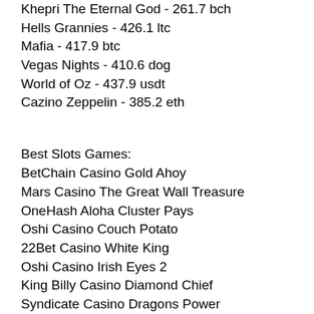Khepri The Eternal God - 261.7 bch
Hells Grannies - 426.1 ltc
Mafia - 417.9 btc
Vegas Nights - 410.6 dog
World of Oz - 437.9 usdt
Cazino Zeppelin - 385.2 eth
Best Slots Games:
BetChain Casino Gold Ahoy
Mars Casino The Great Wall Treasure
OneHash Aloha Cluster Pays
Oshi Casino Couch Potato
22Bet Casino White King
Oshi Casino Irish Eyes 2
King Billy Casino Diamond Chief
Syndicate Casino Dragons Power
Sportsbet.io Lion Dance
mBit Casino Scary Rich
King Billy Casino Sticky Diamonds Red Hot Firepot
OneHash Royal Frog